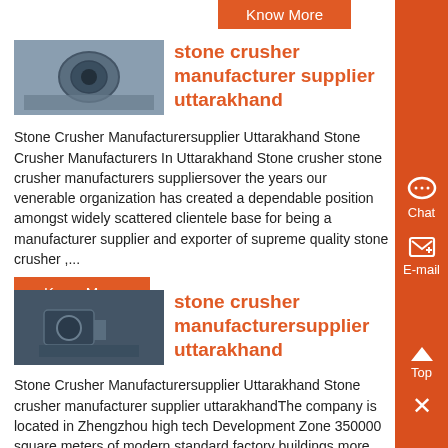[Figure (other): Orange Know More button at top]
[Figure (photo): Stone crusher machinery photo - first card thumbnail]
stone crusher manufacturer supplier uttarakhand
Stone Crusher Manufacturersupplier Uttarakhand Stone Crusher Manufacturers In Uttarakhand Stone crusher stone crusher manufacturers suppliersover the years our venerable organization has created a dependable position amongst widely scattered clientele base for being a manufacturer supplier and exporter of supreme quality stone crusher ,...
[Figure (other): Know More orange button - first card]
[Figure (photo): Stone crusher machinery photo - second card thumbnail]
stone crusher manufacturersupplier uttarakhand
Stone Crusher Manufacturersupplier Uttarakhand Stone crusher manufacturer supplier uttarakhandThe company is located in Zhengzhou high tech Development Zone 350000 square meters of modern standard factory buildings more